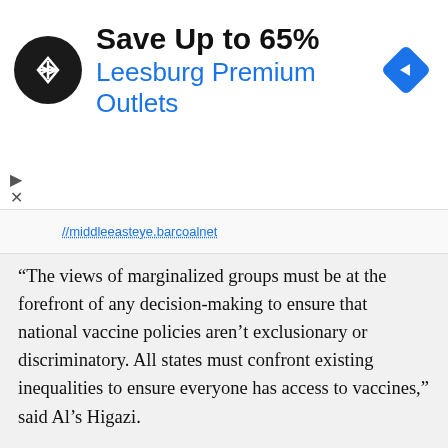[Figure (screenshot): Advertisement banner for Leesburg Premium Outlets: Save Up to 65%. Black circular logo with arrow symbol on left, blue navigation diamond icon on right. Skip/close buttons on left side.]
https://middleeasteye.net
“The views of marginalized groups must be at the forefront of any decision-making to ensure that national vaccine policies aren’t exclusionary or discriminatory. All states must confront existing inequalities to ensure everyone has access to vaccines,” said Al’s Higazi.
In early December, Israel reached an agreement with Pfizer pharmaceutical company to supply 8 million doses of its newly approved COVID-19 vaccine – enough to cover almost half of Israel's population of nearly 9 million since each person requires two doses.
Israel also reached a separate agreement with Moderna to